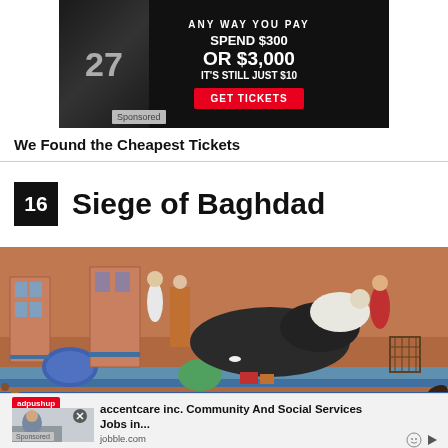[Figure (photo): Advertisement banner with dark background showing sports jersey number 27, text: ANY WAY YOU PAY / SPEND $300 / OR $3,000 / IT'S STILL JUST $10 / GET TICKETS button in red]
Sponsored
We Found the Cheapest Tickets
16  Siege of Baghdad
[Figure (illustration): Medieval Islamic miniature painting depicting the Siege of Baghdad, showing architectural structures, figures, horses, and battle scenes on a terracotta/orange background]
[Figure (photo): Bottom advertisement from adpushup: accentcare inc. Community And Social Services Jobs in... from jobble.com, with photo of person at desk]